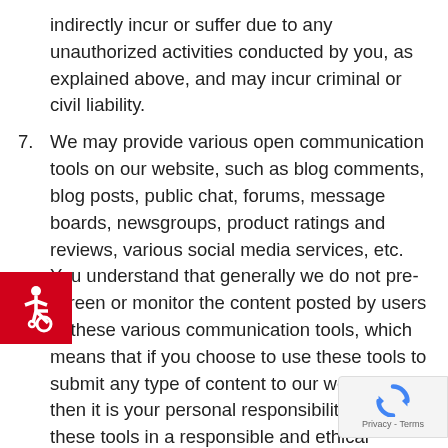indirectly incur or suffer due to any unauthorized activities conducted by you, as explained above, and may incur criminal or civil liability.
7. We may provide various open communication tools on our website, such as blog comments, blog posts, public chat, forums, message boards, newsgroups, product ratings and reviews, various social media services, etc. You understand that generally we do not pre-screen or monitor the content posted by users of these various communication tools, which means that if you choose to use these tools to submit any type of content to our website, then it is your personal responsibility to use these tools in a responsible and ethical manner. By posting information or otherwise using any open communication to mentioned, you agree that you will not uploa post, share, or otherwise distribute any cont that
[Figure (illustration): Wheelchair accessibility icon — white figure in wheelchair on red square background]
[Figure (logo): Google reCAPTCHA badge with spinning arrows logo and 'Privacy - Terms' text]